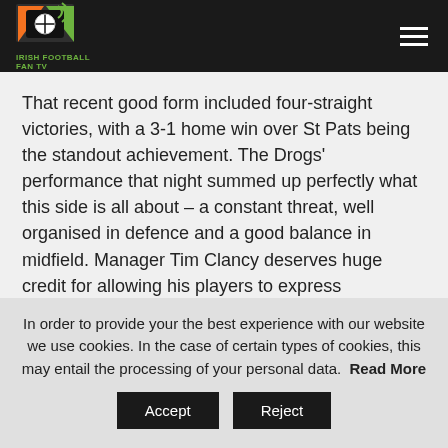IRISH FOOTBALL FAN TV
That recent good form included four-straight victories, with a 3-1 home win over St Pats being the standout achievement. The Drogs' performance that night summed up perfectly what this side is all about – a constant threat, well organised in defence and a good balance in midfield. Manager Tim Clancy deserves huge credit for allowing his players to express themselves.
Their season got off on the right note with a late winner
In order to provide your the best experience with our website we use cookies. In the case of certain types of cookies, this may entail the processing of your personal data.  Read More
Accept
Reject